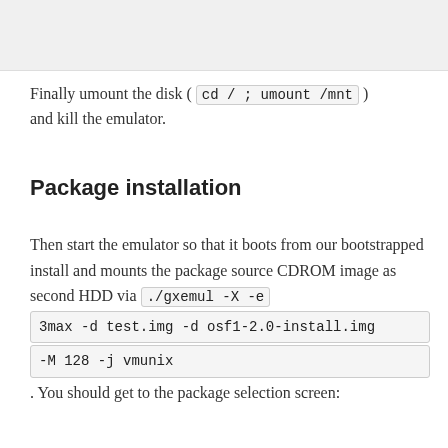[Figure (screenshot): Gray box at top of page, partial screenshot]
Finally umount the disk ( cd / ; umount /mnt ) and kill the emulator.
Package installation
Then start the emulator so that it boots from our bootstrapped install and mounts the package source CDROM image as second HDD via ./gxemul -X -e 3max -d test.img -d osf1-2.0-install.img -M 128 -j vmunix . You should get to the package selection screen: